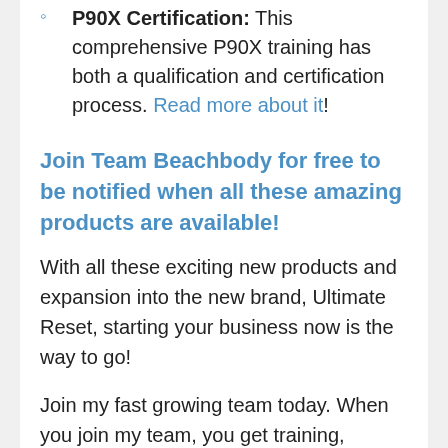P90X Certification: This comprehensive P90X training has both a qualification and certification process. Read more about it!
Join Team Beachbody for free to be notified when all these amazing products are available!
With all these exciting new products and expansion into the new brand, Ultimate Reset, starting your business now is the way to go!
Join my fast growing team today. When you join my team, you get training, support, and become part of a winning team!